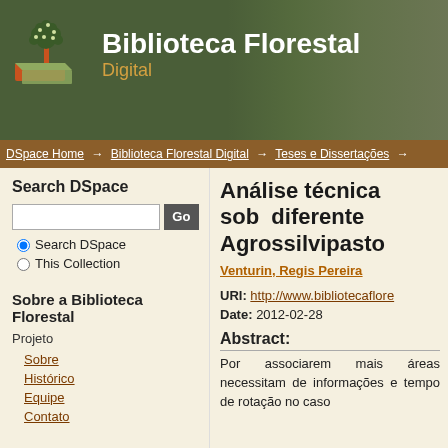[Figure (logo): Biblioteca Florestal Digital logo with tree icon on orange/green books]
Biblioteca Florestal Digital
DSpace Home → Biblioteca Florestal Digital → Teses e Dissertações →
Search DSpace
Search DSpace (radio selected), This Collection (radio)
Sobre a Biblioteca Florestal
Projeto
Sobre
Histórico
Equipe
Contato
Análise técnica sob diferente Agrossilvipasto
Venturin, Regis Pereira
URI: http://www.bibliotecaflore...
Date: 2012-02-28
Abstract:
Por associarem mais áreas necessitam de informações e tempo de rotação no caso